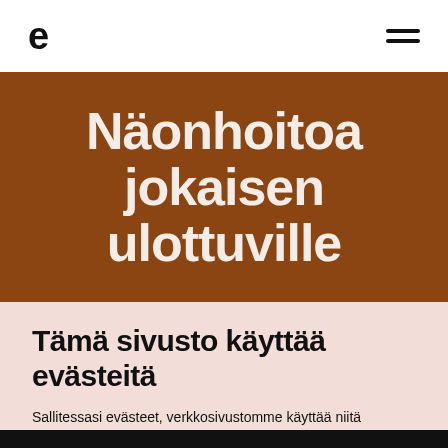e
Näonhoitoa jokaisen ulottuville
Tämä sivusto käyttää evästeitä
Sallitessasi evästeet, verkkosivustomme käyttää niitä käyttökokemuksen parantamiseksi, verkkoliikenteen analysoimiseksi ja markkinointitarkoituksiin. Voit lukea lisää kuinka käytämme evästeitä Eväste-sivultamme.